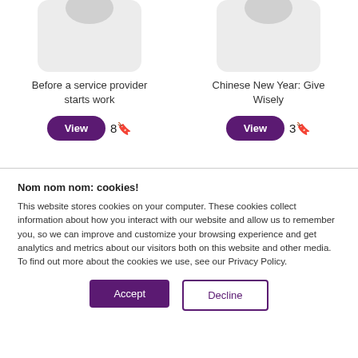[Figure (illustration): Card image placeholder with rounded rectangle background, partially showing a circular graphic at top]
Before a service provider starts work
View  8🔖
[Figure (illustration): Card image placeholder with rounded rectangle background, partially showing a circular graphic at top]
Chinese New Year: Give Wisely
View  3🔖
Nom nom nom: cookies!
This website stores cookies on your computer. These cookies collect information about how you interact with our website and allow us to remember you, so we can improve and customize your browsing experience and get analytics and metrics about our visitors both on this website and other media. To find out more about the cookies we use, see our Privacy Policy.
Accept
Decline